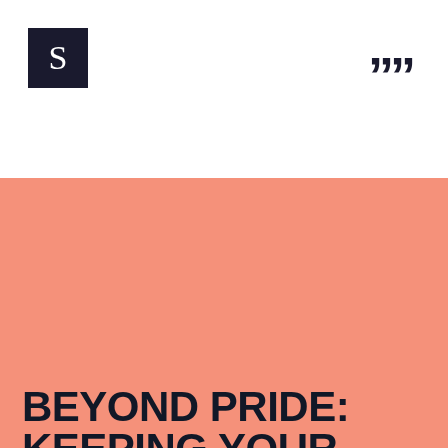[Figure (logo): Black square logo with white letter S in serif font]
””
BEYOND PRIDE: KEEPING YOUR BRAND CONNECTED WITH THE LGBTQ COMMUNITY
Customer Engagement